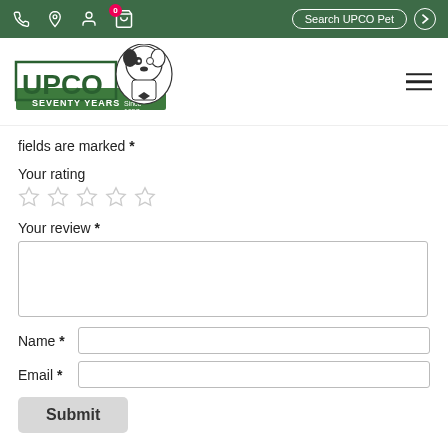UPCO Pet - Search UPCO Pet navigation bar
[Figure (logo): UPCO Seventy Years logo with a French Bulldog illustration]
fields are marked *
Your rating
[Figure (other): Five empty star rating icons]
Your review *
[Figure (other): Empty textarea for review input]
Name *
Email *
Submit